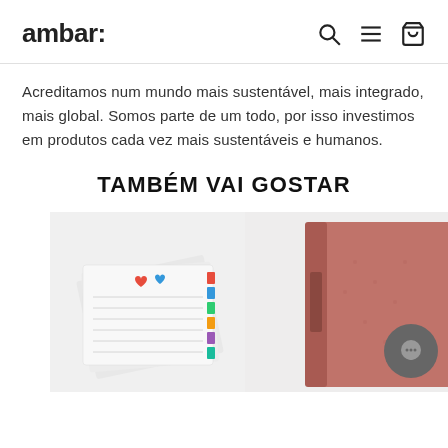ambar:
Acreditamos num mundo mais sustentável, mais integrado, mais global. Somos parte de um todo, por isso investimos em produtos cada vez mais sustentáveis e humanos.
TAMBÉM VAI GOSTAR
[Figure (photo): Product image: white notebook/divider pages with colorful heart and tab stickers]
[Figure (photo): Product image: pink/red binder or folder, partially visible on right edge]